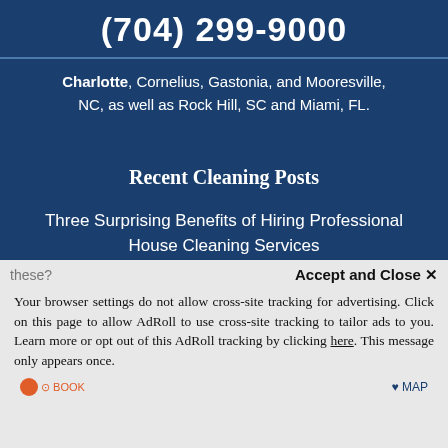(704) 299-9000
Charlotte, Cornelius, Gastonia, and Mooresville, NC, as well as Rock Hill, SC and Miami, FL.
Recent Cleaning Posts
Three Surprising Benefits of Hiring Professional House Cleaning Services
Reasons for Temporary House Cleaning Services
Does Your Residential Cleaning Service Do these?
Accept and Close ✕
Your browser settings do not allow cross-site tracking for advertising. Click on this page to allow AdRoll to use cross-site tracking to tailor ads to you. Learn more or opt out of this AdRoll tracking by clicking here. This message only appears once.